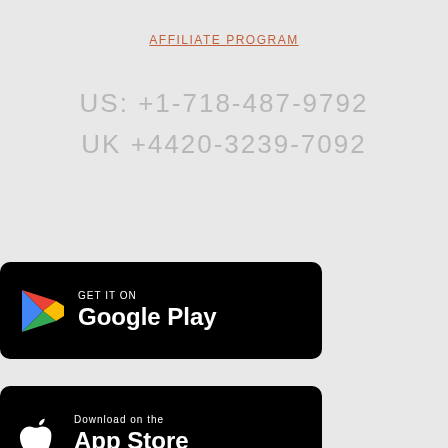AFFILIATE PROGRAM
US: +1-718-487-9792
UK +4420-3239-7092
[Figure (logo): Google Play store badge button - black rounded rectangle with Google Play logo and text 'GET IT ON Google Play']
[Figure (logo): Apple App Store badge button - black rounded rectangle with Apple logo and text 'Download on the App Store']